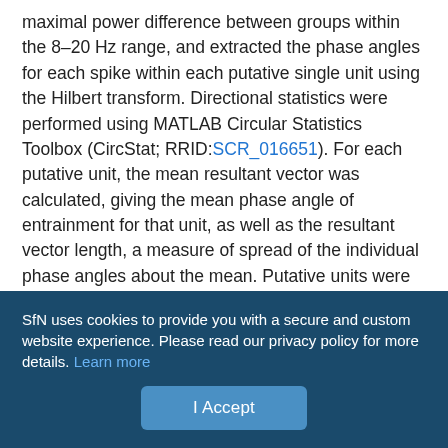maximal power difference between groups within the 8–20 Hz range, and extracted the phase angles for each spike within each putative single unit using the Hilbert transform. Directional statistics were performed using MATLAB Circular Statistics Toolbox (CircStat; RRID:SCR_016651). For each putative unit, the mean resultant vector was calculated, giving the mean phase angle of entrainment for that unit, as well as the resultant vector length, a measure of spread of the individual phase angles about the mean. Putative units were then considered significantly entrained if the resultant vector length was greater than the threshold of nonuniform distribution calculated by the Rayleigh test (Berens, 2009). The mean angles of entrainment between significantly entrained sham and injured putative units as well as their distributions were compared using the
SfN uses cookies to provide you with a secure and custom website experience. Please read our privacy policy for more details. Learn more
I Accept